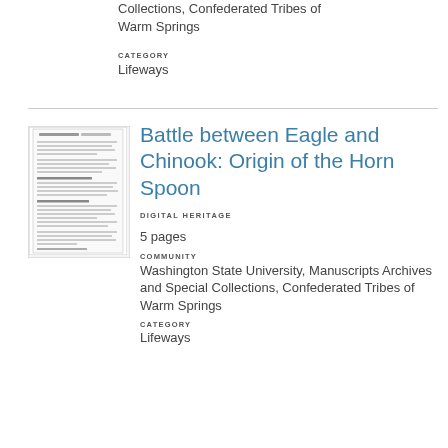Collections, Confederated Tribes of Warm Springs
CATEGORY
Lifeways
Battle between Eagle and Chinook: Origin of the Horn Spoon
DIGITAL HERITAGE
5 pages
COMMUNITY
Washington State University, Manuscripts Archives and Special Collections, Confederated Tribes of Warm Springs
CATEGORY
Lifeways
[Figure (photo): Thumbnail image of a handwritten/typed document page with text, appearing as a scanned manuscript page]